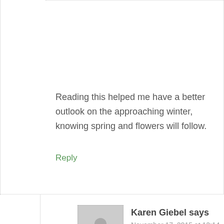Reading this helped me have a better outlook on the approaching winter, knowing spring and flowers will follow.
Reply
Karen Giebel says
November 17, 2015 at 12:14 pm